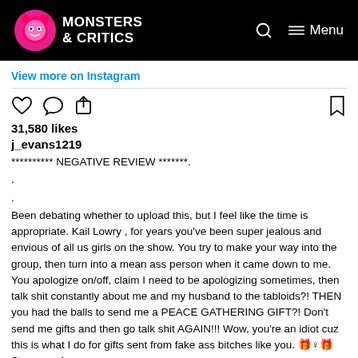[Figure (logo): Monsters & Critics logo with pink monster icon on black header bar]
View more on Instagram
[Figure (infographic): Instagram action icons: heart, comment, share (left), bookmark (right)]
31,580 likes
j_evans1219
********** NEGATIVE REVIEW *******.
.
.
Been debating whether to upload this, but I feel like the time is appropriate. Kail Lowry , for years you've been super jealous and envious of all us girls on the show. You try to make your way into the group, then turn into a mean ass person when it came down to me. You apologize on/off, claim I need to be apologizing sometimes, then talk shit constantly about me and my husband to the tabloids?! THEN you had the balls to send me a PEACE GATHERING GIFT?! Don't send me gifts and then go talk shit AGAIN!!! Wow, you're an idiot cuz this is what I do for gifts sent from fake ass bitches like you. 🎁♀🎁 Stay our of